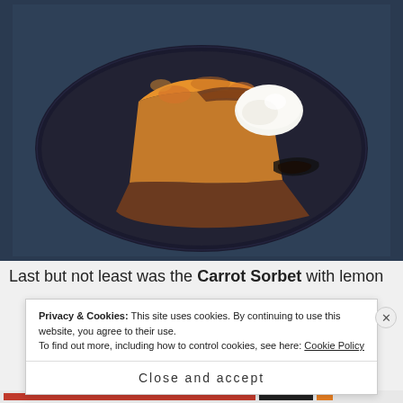[Figure (photo): A slice of golden cheesecake with a chocolate glaze and a scoop of white sorbet/ice cream on a dark plate, on a blue-grey background]
Last but not least was the Carrot Sorbet with lemon
Privacy & Cookies: This site uses cookies. By continuing to use this website, you agree to their use.
To find out more, including how to control cookies, see here: Cookie Policy
Close and accept